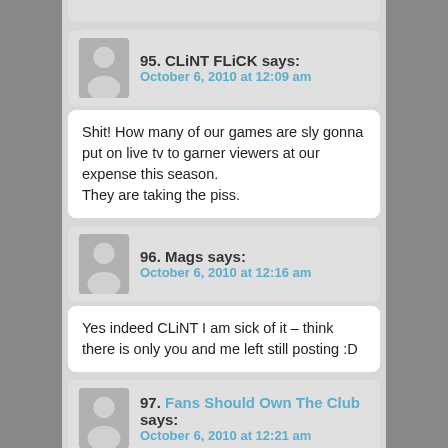95. CLiNT FLiCK says:
October 6, 2010 at 12:09 am
Shit! How many of our games are sly gonna put on live tv to garner viewers at our expense this season.
They are taking the piss.
96. Mags says:
October 6, 2010 at 12:16 am
Yes indeed CLiNT I am sick of it – think there is only you and me left still posting :D
97. Fans Should Own The Club says:
October 6, 2010 at 12:21 am